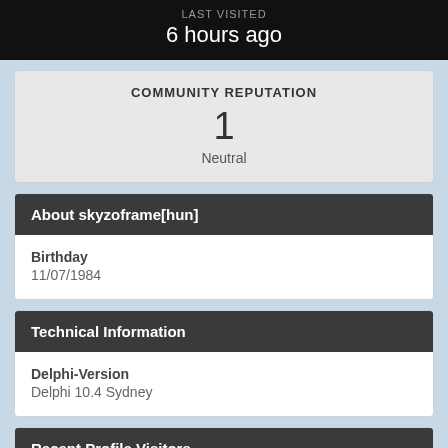LAST VISITED
6 hours ago
COMMUNITY REPUTATION
1
Neutral
About skyzoframe[hun]
Birthday
11/07/1984
Technical Information
Delphi-Version
Delphi 10.4 Sydney
Recent Profile Visitors